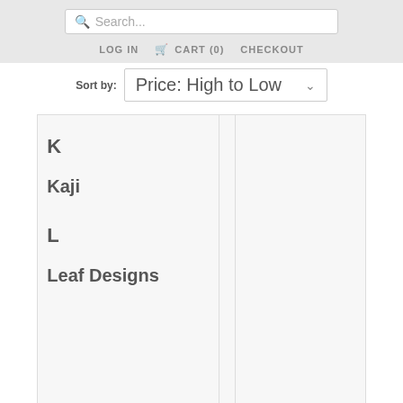Search...
LOG IN   CART (0)   CHECKOUT
Sort by: Price: High to Low
| K |  |  |
| Kaji |  |  |
| L |  |  |
| Leaf Designs |  |  |